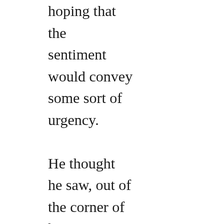hoping that the sentiment would convey some sort of urgency.

He thought he saw, out of the corner of his eye, some look pass between the two of them, but he turned in time only